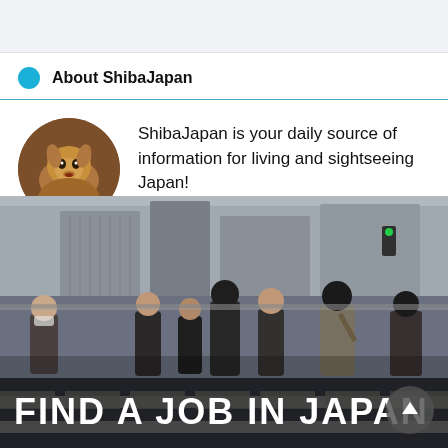About ShibaJapan
ShibaJapan is your daily source of information for living and sightseeing Japan!
[Figure (photo): People walking across a crosswalk in Japan, city background, with overlay text 'FIND A JOB IN JAPAN']